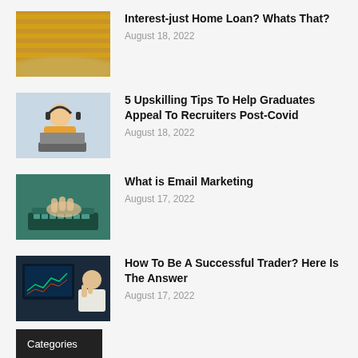[Figure (photo): House model on top of gold coin stacks]
Interest-just Home Loan? Whats That?
August 18, 2022
[Figure (photo): Student with headphones looking at laptop]
5 Upskilling Tips To Help Graduates Appeal To Recruiters Post-Covid
August 18, 2022
[Figure (photo): Hands typing on laptop with email marketing concept]
What is Email Marketing
August 17, 2022
[Figure (photo): Person analyzing trading charts on laptop]
How To Be A Successful Trader? Here Is The Answer
August 17, 2022
Categories